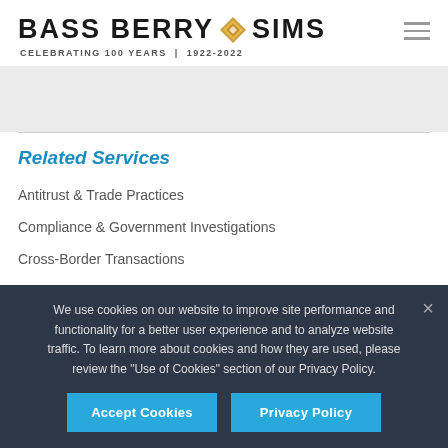BASS BERRY SIMS — CELEBRATING 100 YEARS | 1922-2022
Related Services
Antitrust & Trade Practices
Compliance & Government Investigations
Cross-Border Transactions
We use cookies on our website to improve site performance and functionality for a better user experience and to analyze website traffic. To learn more about cookies and how they are used, please review the "Use of Cookies" section of our Privacy Policy.